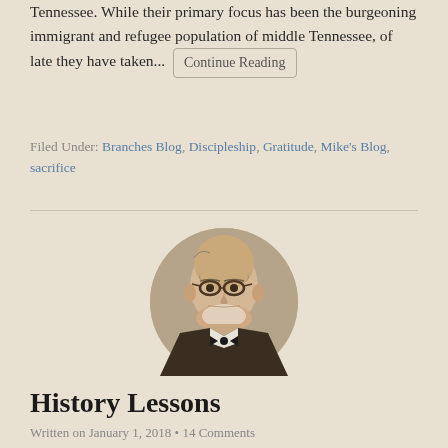Tennessee. While their primary focus has been the burgeoning immigrant and refugee population of middle Tennessee, of late they have taken... [Continue Reading]
Filed Under: Branches Blog, Discipleship, Gratitude, Mike's Blog, sacrifice
[Figure (photo): Circular portrait photo of an elderly man wearing glasses and a bow tie, in a dark suit, looking slightly to the side.]
History Lessons
Written on January 1, 2018 • 14 Comments
I have always liked history. My 8th grade history teacher was named W.W. Davis. Isn't that cool? If you grew up with